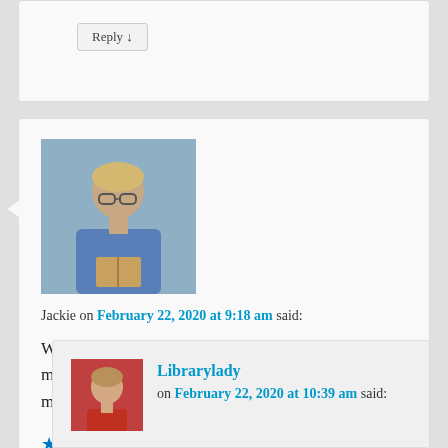Reply ↓
[Figure (photo): Profile photo of Jackie, a person with glasses and a blue scarf, reading a book]
Jackie on February 22, 2020 at 9:18 am said:
We travel very lightly. I always have scarves. I love my Clark Cloud shoes too! They have walked many a mile.
★ Like
Reply ↓
[Figure (photo): Profile photo of Librarylady, a woman with short hair wearing a red top]
Librarylady on February 22, 2020 at 10:39 am said: